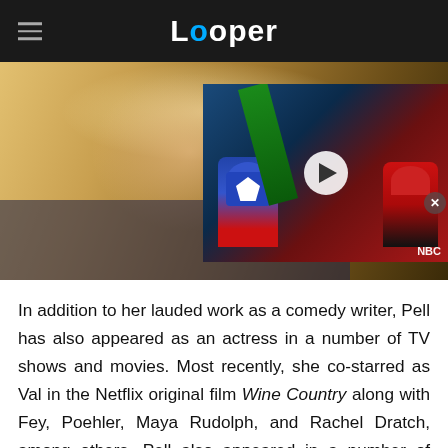Looper
[Figure (photo): Main photo of a laughing blonde woman with an overlaid video thumbnail showing people in superhero costumes (Captain America and Spider-Man) on a ride, with a play button. NBC label in corner. Close button visible.]
In addition to her lauded work as a comedy writer, Pell has also appeared as an actress in a number of TV shows and movies. Most recently, she co-starred as Val in the Netflix original film Wine Country along with Fey, Poehler, Maya Rudolph, and Rachel Dratch, among others. Pell also appeared in a number of episodes of 30 Rock as Paula Hornberger, the wife